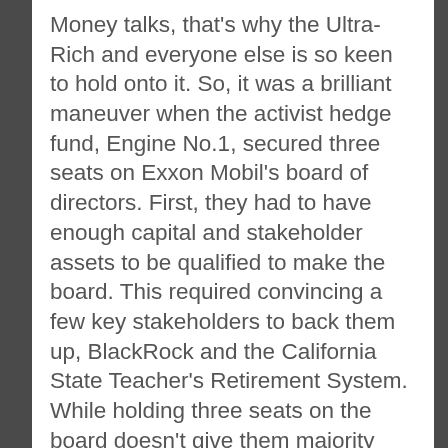Money talks, that's why the Ultra-Rich and everyone else is so keen to hold onto it. So, it was a brilliant maneuver when the activist hedge fund, Engine No.1, secured three seats on Exxon Mobil's board of directors. First, they had to have enough capital and stakeholder assets to be qualified to make the board. This required convincing a few key stakeholders to back them up, BlackRock and the California State Teacher's Retirement System. While holding three seats on the board doesn't give them majority rule on what the oil giant does, they do have an opportunity to present proposals and lean into the idea of working towards renewable energy services.
It's unfathomable how many opportunities we've missed to improve the energy and technology